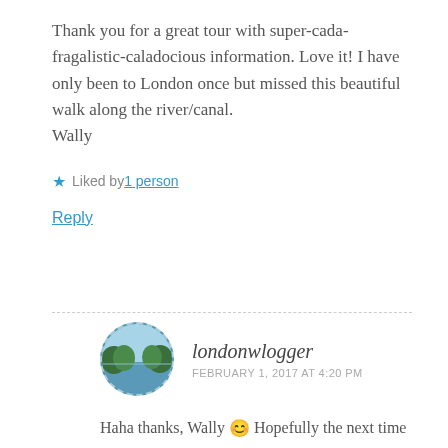Thank you for a great tour with super-cada-fragalistic-caladocious information. Love it! I have only been to London once but missed this beautiful walk along the river/canal.
Wally
★ Liked by 1 person
Reply
londonwlogger
FEBRUARY 1, 2017 AT 4:20 PM
Haha thanks, Wally 😊 Hopefully the next time you visit you can enjoy all these walks!
★ Liked by 1 person